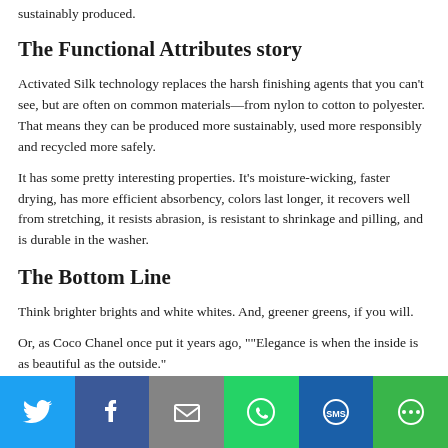sustainably produced.
The Functional Attributes story
Activated Silk technology replaces the harsh finishing agents that you can't see, but are often on common materials—from nylon to cotton to polyester. That means they can be produced more sustainably, used more responsibly and recycled more safely.
It has some pretty interesting properties. It's moisture-wicking, faster drying, has more efficient absorbency, colors last longer, it recovers well from stretching, it resists abrasion, is resistant to shrinkage and pilling, and is durable in the washer.
The Bottom Line
Think brighter brights and white whites. And, greener greens, if you will.
Or, as Coco Chanel once put it years ago, ""Elegance is when the inside is as beautiful as the outside."
More about Evolved by Nature, here.
[Figure (infographic): Social sharing bar with six buttons: Twitter (blue), Facebook (dark blue), Email (grey), WhatsApp (green), SMS (blue), and More (green)]